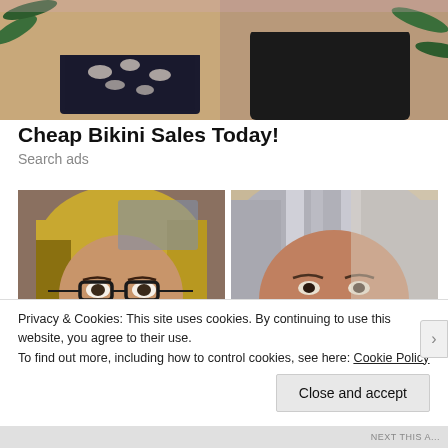[Figure (photo): Two women in bikinis; one wearing floral high-waisted bikini bottom, one wearing black bikini, tropical plant background]
Cheap Bikini Sales Today!
Search ads
[Figure (photo): Two side-by-side close-up photos of women's faces. Left: woman with blonde hair and dark-rimmed glasses. Right: woman with silver-streaked hair.]
Privacy & Cookies: This site uses cookies. By continuing to use this website, you agree to their use.
To find out more, including how to control cookies, see here: Cookie Policy
Close and accept